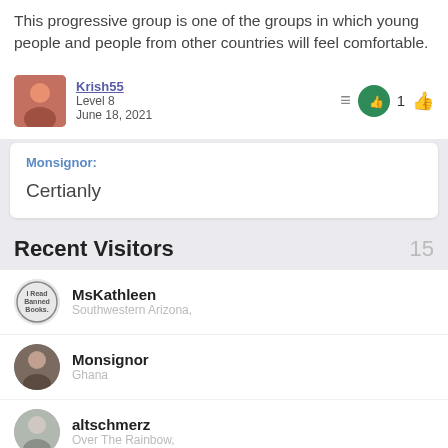This progressive group is one of the groups in which young people and people from other countries will feel comfortable.
Krish55
Level 8
June 18, 2021
Monsignor:
Certianly
Recent Visitors  15
MsKathleen
Southwestern Arizona,
Monsignor
Ghana
altschmerz
Over The Rainbow,
Krish55
FL, USA